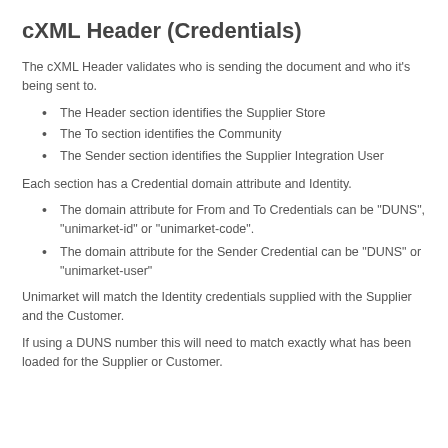cXML Header (Credentials)
The cXML Header validates who is sending the document and who it's being sent to.
The Header section identifies the Supplier Store
The To section identifies the Community
The Sender section identifies the Supplier Integration User
Each section has a Credential domain attribute and Identity.
The domain attribute for From and To Credentials can be "DUNS", "unimarket-id" or "unimarket-code".
The domain attribute for the Sender Credential can be "DUNS" or "unimarket-user"
Unimarket will match the Identity credentials supplied with the Supplier and the Customer.
If using a DUNS number this will need to match exactly what has been loaded for the Supplier or Customer.